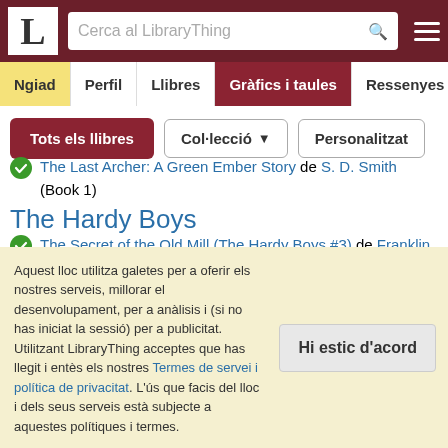LibraryThing – Cerca al LibraryThing
Ngiad | Perfil | Llibres | Gràfics i taules | Ressenyes | Ga
Tots els llibres | Col·lecció ▼ | Personalitzat
The Last Archer: A Green Ember Story de S. D. Smith (Book 1)
The Hardy Boys
The Secret of the Old Mill (The Hardy Boys #3) de Franklin W. Dixon (3)
The Missing Chums (Hardy Boys, Book 4) de Franklin W. Dixon
Aquest lloc utilitza galetes per a oferir els nostres serveis, millorar el desenvolupament, per a anàlisis i (si no has iniciat la sessió) per a publicitat. Utilitzant LibraryThing acceptes que has llegit i entès els nostres Termes de servei i política de privacitat. L'ús que facis del lloc i dels seus serveis està subjecte a aquestes polítiques i termes.
Hi estic d'acord